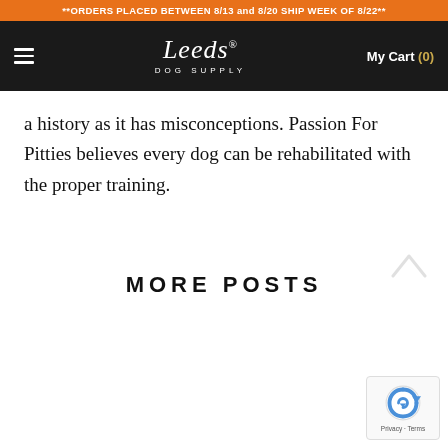**ORDERS PLACED BETWEEN 8/13 and 8/20 SHIP WEEK OF 8/22**
[Figure (logo): Leeds Dog Supply logo — script 'Leeds' with registered trademark symbol and 'DOG SUPPLY' subtitle in white on dark background, with hamburger menu icon and 'My Cart (0)' link]
a history as it has misconceptions. Passion For Pitties believes every dog can be rehabilitated with the proper training.
MORE POSTS